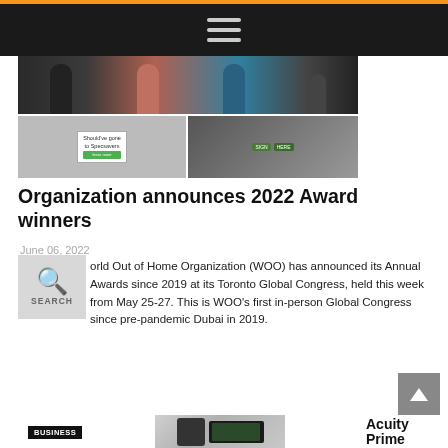Navigation bar with hamburger menu
[Figure (photo): Collage of event photos: people holding devices at top, a sign board and a group of protesters/attendees at bottom]
Organization announces 2022 Award winners
June 06, 2022
World Out of Home Organization (WOO) has announced its Annual Awards since 2019 at its Toronto Global Congress, held this week from May 25-27. This is WOO's first in-person Global Congress since pre-pandemic Dubai in 2019.
[Figure (screenshot): Search icon overlay with magnifying glass and SEARCH label]
[Figure (photo): Product image of Acuity device/monitor at bottom of page]
Acuity Prime and